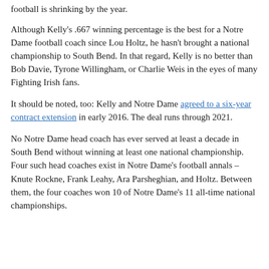football is shrinking by the year.
Although Kelly's .667 winning percentage is the best for a Notre Dame football coach since Lou Holtz, he hasn't brought a national championship to South Bend. In that regard, Kelly is no better than Bob Davie, Tyrone Willingham, or Charlie Weis in the eyes of many Fighting Irish fans.
It should be noted, too: Kelly and Notre Dame agreed to a six-year contract extension in early 2016. The deal runs through 2021.
No Notre Dame head coach has ever served at least a decade in South Bend without winning at least one national championship. Four such head coaches exist in Notre Dame's football annals – Knute Rockne, Frank Leahy, Ara Parsheghian, and Holtz. Between them, the four coaches won 10 of Notre Dame's 11 all-time national championships.